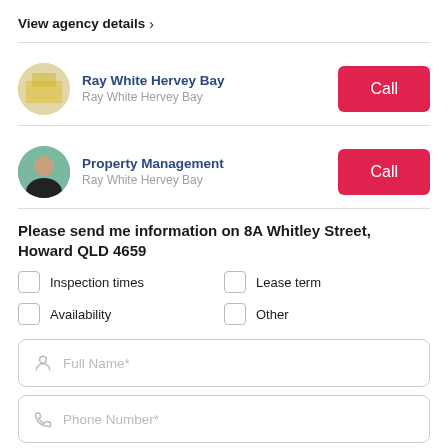View agency details >
Ray White Hervey Bay
Ray White Hervey Bay
Call
Property Management
Ray White Hervey Bay
Call
Please send me information on 8A Whitley Street, Howard QLD 4659
Inspection times
Lease term
Availability
Other
Full Name*
Phone Number*